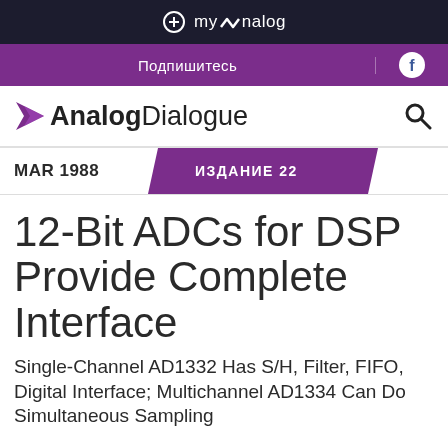+ myAnalog
Подпишитесь
Analog Dialogue
MAR 1988  ИЗДАНИЕ 22
12-Bit ADCs for DSP Provide Complete Interface
Single-Channel AD1332 Has S/H, Filter, FIFO, Digital Interface; Multichannel AD1334 Can Do Simultaneous Sampling